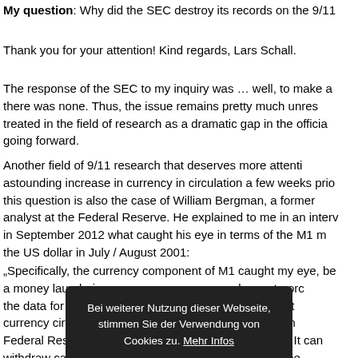My question: Why did the SEC destroy its records on the 9/11
Thank you for your attention! Kind regards, Lars Schall.
The response of the SEC to my inquiry was … well, to make a long story short: there was none. Thus, the issue remains pretty much unresolved and is treated in the field of research as a dramatic gap in the official record going forward.
Another field of 9/11 research that deserves more attention is the astounding increase in currency in circulation a few weeks prior to 9/11. Into this question is also the case of William Bergman, a former financial market analyst at the Federal Reserve. He explained to me in an interview published in September 2012 what caught his eye in terms of the M1 money supply and the US dollar in July / August 2001:
„Specifically, the currency component of M1 caught my eye, because I was on a money laundering project in late 2003. I noticed an extraordinary jump in the data for July / August 2001, particularly the currency component – currency circulating outside of banks (The currency component comprises Federal Reserve Notes – currency circulating outside of banks. It can increase when withdraw cash out of their bank accounts.) As of late 2003, when I was still stuff at the Fed, from June to August 2001, this measure (seasonally adjusted data) posted the largest growth rate for a June to A
Bei weiterer Nutzung dieser Webseite, stimmen Sie der Verwendung von Cookies zu. Mehr Infos
Akzeptieren